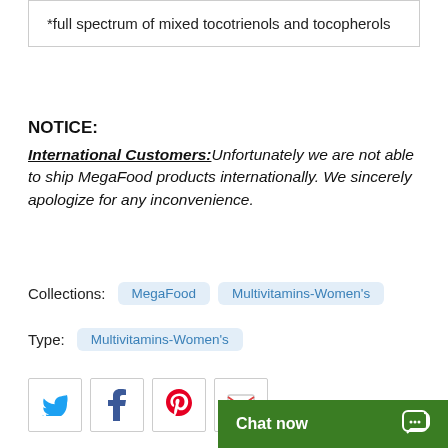*full spectrum of mixed tocotrienols and tocopherols
NOTICE:
International Customers: Unfortunately we are not able to ship MegaFood products internationally. We sincerely apologize for any inconvenience.
Collections: MegaFood   Multivitamins-Women's
Type: Multivitamins-Women's
[Figure (other): Social share buttons: Twitter, Facebook, Pinterest, Email]
Chat now